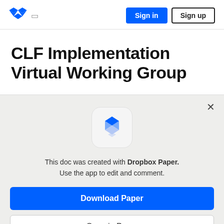Dropbox | Sign in | Sign up
CLF Implementation Virtual Working Group
[Figure (logo): Dropbox Paper app icon — blue layered diamond shape on light gray rounded square background]
This doc was created with Dropbox Paper. Use the app to edit and comment.
Download Paper
Open in Paper